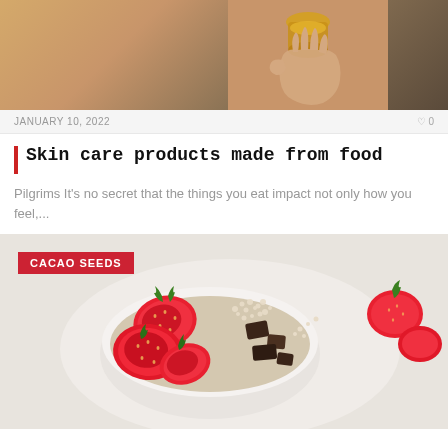[Figure (photo): A hand holding a small glass jar with amber/honey-colored liquid against a light background, top portion of article image cropped at top]
JANUARY 10, 2022
0
Skin care products made from food
Pilgrims It's no secret that the things you eat impact not only how you feel,...
[Figure (photo): Overhead view of a bowl topped with sliced strawberries, chocolate pieces, and seeds/grains. Red strawberries also visible in the background. CACAO SEEDS category badge overlay in top-left corner.]